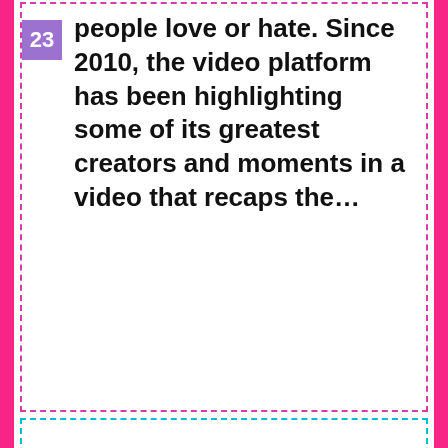people love or hate. Since 2010, the video platform has been highlighting some of its greatest creators and moments in a video that recaps the…
The 2020 Golden Raspberry Awards were handed out in a YouTube video
The award ceremony was canceled due to the coronavirus epidemic, but the worst films and actors were not left without gold statues. Relatively quickly, the